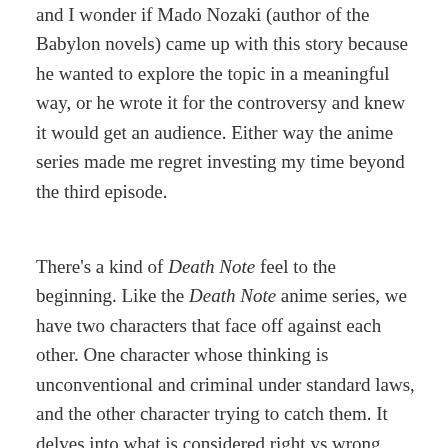and I wonder if Mado Nozaki (author of the Babylon novels) came up with this story because he wanted to explore the topic in a meaningful way, or he wrote it for the controversy and knew it would get an audience. Either way the anime series made me regret investing my time beyond the third episode.
There's a kind of Death Note feel to the beginning. Like the Death Note anime series, we have two characters that face off against each other. One character whose thinking is unconventional and criminal under standard laws, and the other character trying to catch them. It delves into what is considered right vs wrong, good vs evil in